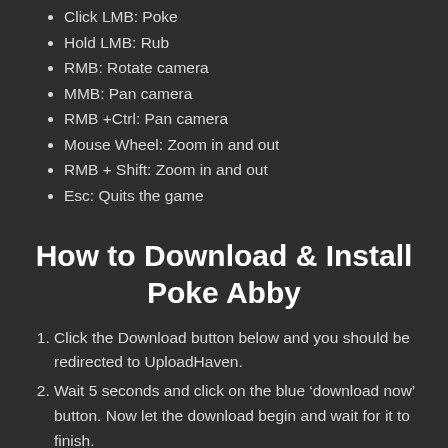Click LMB: Poke
Hold LMB: Rub
RMB: Rotate camera
MMB: Pan camera
RMB +Ctrl: Pan camera
Mouse Wheel: Zoom in and out
RMB + Shift: Zoom in and out
Esc: Quits the game
How to Download & Install Poke Abby
Click the Download button below and you should be redirected to UploadHaven.
Wait 5 seconds and click on the blue 'download now' button. Now let the download begin and wait for it to finish.